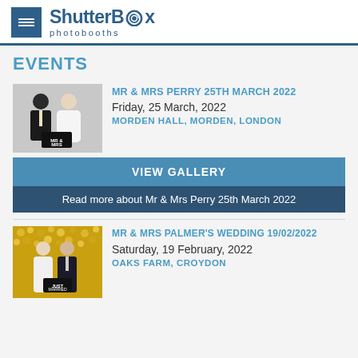ShutterBox photobooths
EVENTS
[Figure (photo): Couple in photobooth, man in suit and woman in wedding dress holding MR & MRS sign, grey background]
MR & MRS PERRY 25TH MARCH 2022
Friday, 25 March, 2022
MORDEN HALL, MORDEN, LONDON
VIEW GALLERY
Read more about Mr & Mrs Perry 25th March 2022
[Figure (photo): Couple posing in front of gold sequin backdrop at photobooth, woman in white dress and man in suit holding sign]
MR & MRS PALMER'S WEDDING 19/02/2022
Saturday, 19 February, 2022
OAKS FARM, CROYDON